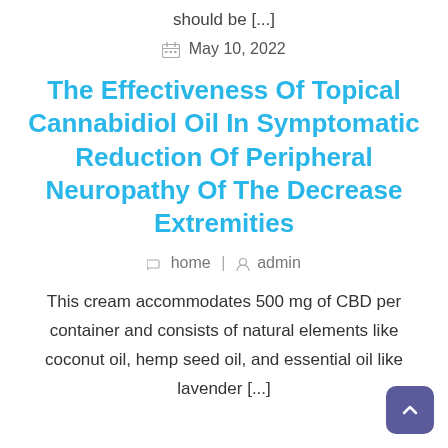should be [...]
📅 May 10, 2022
The Effectiveness Of Topical Cannabidiol Oil In Symptomatic Reduction Of Peripheral Neuropathy Of The Decrease Extremities
🗂 home | 👤 admin
This cream accommodates 500 mg of CBD per container and consists of natural elements like coconut oil, hemp seed oil, and essential oil like lavender [...]